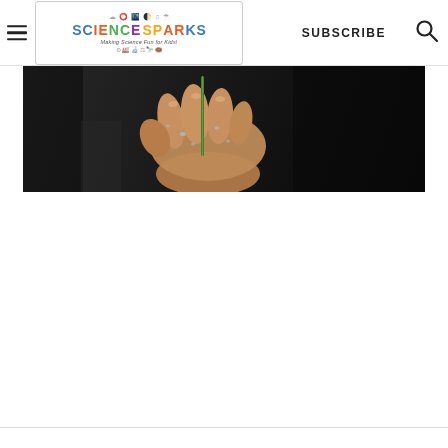Science Sparks — Making Science Fun for Kids! | SUBSCRIBE | Search
[Figure (photo): A close-up photo of a wet human hand holding a thin green stem or wire, shot against a dark background. The hand appears to be dripping with water.]